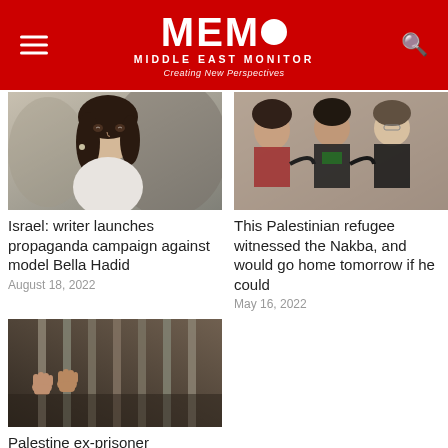[Figure (logo): MEMO Middle East Monitor logo with red background, white text, hamburger menu icon on left, search icon on right]
[Figure (photo): Photo of model Bella Hadid at an event]
Israel: writer launches propaganda campaign against model Bella Hadid
August 18, 2022
[Figure (photo): Photo of a Palestinian refugee family group]
This Palestinian refugee witnessed the Nakba, and would go home tomorrow if he could
May 16, 2022
[Figure (photo): Photo of hands gripping prison bars]
Palestine ex-prisoner